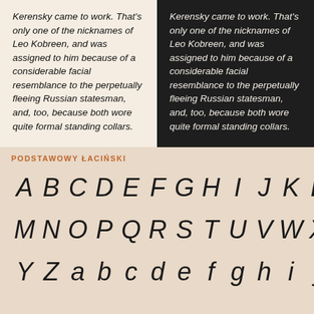Kerensky came to work. That's only one of the nicknames of Leo Kobreen, and was assigned to him because of a considerable facial resemblance to the perpetually fleeing Russian statesman, and, too, because both wore quite formal standing collars.
Kerensky came to work. That's only one of the nicknames of Leo Kobreen, and was assigned to him because of a considerable facial resemblance to the perpetually fleeing Russian statesman, and, too, because both wore quite formal standing collars.
PODSTAWOWY ŁACIŃSKI
A B C D E F G H I J K L M N O P Q R S T U V W X Y Z a b c d e f g h i j